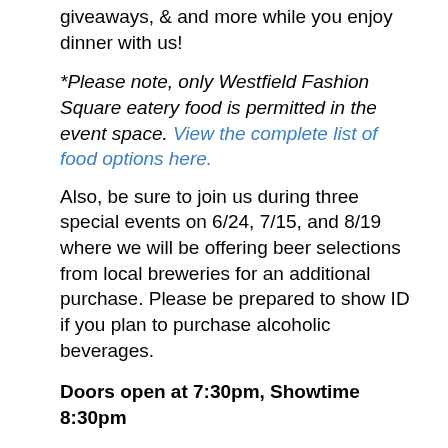giveaways, & and more while you enjoy dinner with us!
*Please note, only Westfield Fashion Square eatery food is permitted in the event space. View the complete list of food options here.
Also, be sure to join us during three special events on 6/24, 7/15, and 8/19 where we will be offering beer selections from local breweries for an additional purchase. Please be prepared to show ID if you plan to purchase alcoholic beverages.
Doors open at 7:30pm, Showtime 8:30pm
Austin Powers: International Man of Mystery, 1997, 1 hour 29 minutes, USA, Dir: Jay Roach
Rated PG-13
A world-class playboy and part-time secret agent from the 1960s emerges after thirty years in a cryogenic state to battle with his nemesis Dr. Evil.